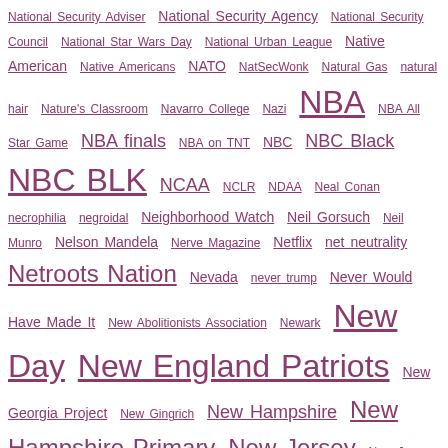National Security Adviser National Security Agency National Security Council National Star Wars Day National Urban League Native American Native Americans NATO NatSecWonk Natural Gas natural hair Nature's Classroom Navarro College Nazi NBA NBA All Star Game NBA finals NBA on TNT NBC NBC Black NBC BLK NCAA NCLR NDAA Neal Conan necrophilia negroidal Neighborhood Watch Neil Gorsuch Neil Munro Nelson Mandela Nerve Magazine Netflix net neutrality Netroots Nation Nevada never trump Never Would Have Made It New Abolitionists Association Newark New Day New England Patriots New Georgia Project New Gingrich New Hampshire New Hampshire Primary New Jersey New Jersey Nets New Orleans Saints New Pittsburgh Courier Newsmax News One Now New Spirit Revival Center new Star Wars movie Newt Gingrich Newton County Newtown New York New York City New York Daily News New York Jets New York primary New York Senate New York Times New Zealand NFL NFL draft NFL Referees Association NHL Niambi Carter Nicholas Confessore Nick Cannon